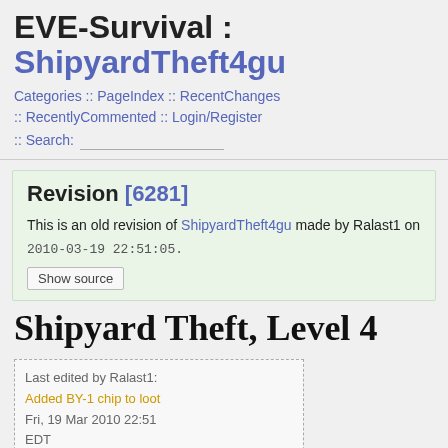EVE-Survival : ShipyardTheft4gu
Categories :: PageIndex :: RecentChanges :: RecentlyCommented :: Login/Register :: Search:
Revision [6281]
This is an old revision of ShipyardTheft4gu made by Ralast1 on 2010-03-19 22:51:05.
Show source
Shipyard Theft, Level 4
Last edited by Ralast1: Added BY-1 chip to loot Fri, 19 Mar 2010 22:51 EDT